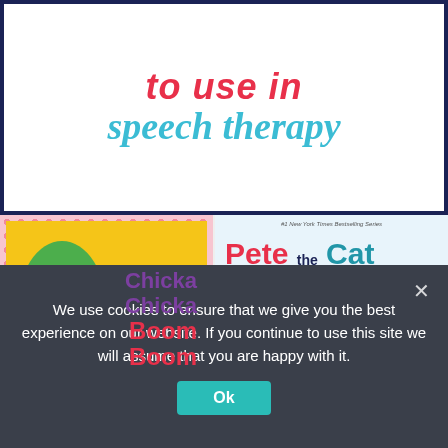[Figure (illustration): Top banner with decorative border and text 'to use in speech therapy' in bold colorful script lettering on white background with dark navy border]
[Figure (illustration): Two children's book covers side by side: left is 'Chicka Chicka Boom Boom' by Bill Martin Jr with yellow background and alphabet tree illustration; right is 'Pete the Cat and His Four Groovy Buttons' by James Dean with light blue background and cartoon cat illustration]
We use cookies to ensure that we give you the best experience on our website. If you continue to use this site we will assume that you are happy with it.
Ok